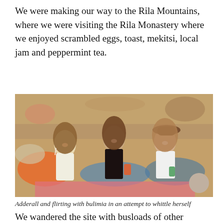We were making our way to the Rila Mountains, where we were visiting the Rila Monastery where we enjoyed scrambled eggs, toast, mekitsi, local jam and peppermint tea.
[Figure (photo): Three young women sitting together outdoors in a colorful boho-style setting, smiling. Two hold drinks. One wears a hat. Colorful cushions and market-style background.]
Adderall and flirting with bulimia in an attempt to whittle herself
We wandered the site with busloads of other tourists, yet